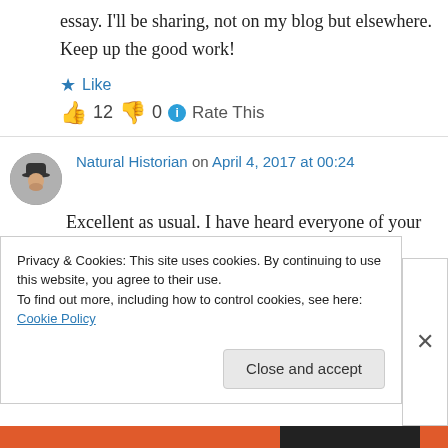essay. I'll be sharing, not on my blog but elsewhere. Keep up the good work!
Like
👍 12 👎 0 ℹ Rate This
Natural Historian on April 4, 2017 at 00:24
Excellent as usual. I have heard everyone of your examples many times. This is a very helpful compilation of quick responses to many common
Privacy & Cookies: This site uses cookies. By continuing to use this website, you agree to their use.
To find out more, including how to control cookies, see here: Cookie Policy
Close and accept